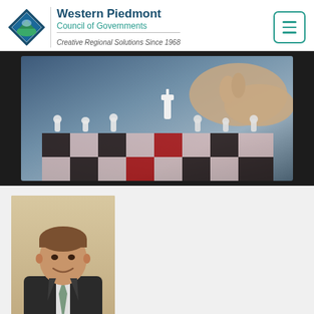[Figure (logo): Western Piedmont Council of Governments logo — blue diamond with green landscape icon, organization name, and tagline 'Creative Regional Solutions Since 1968']
[Figure (photo): Close-up photo of hands moving a chess king piece on a chess board, representing strategic planning]
[Figure (photo): Professional headshot of Anthony Starr in a suit and tie, smiling]
Anthony Starr
Education
B.S. in Community & Regional Planning,